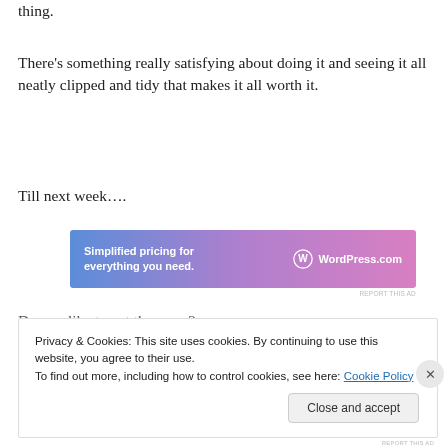thing.
There's something really satisfying about doing it and seeing it all neatly clipped and tidy that makes it all worth it.
Till next week….
[Figure (other): WordPress.com advertisement banner with gradient blue-purple background. Text: 'Simplified pricing for everything you need.' with WordPress.com logo on the right.]
REPORT THIS AD
Do you like to cut the grass?
Privacy & Cookies: This site uses cookies. By continuing to use this website, you agree to their use.
To find out more, including how to control cookies, see here: Cookie Policy
Close and accept